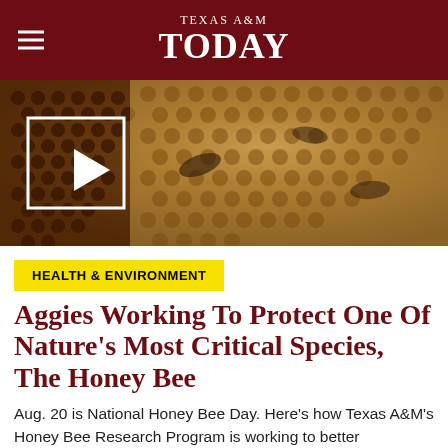TEXAS A&M TODAY
[Figure (photo): Close-up photo of honeybees on a honeycomb frame, with a video play button overlay in the lower-left area.]
HEALTH & ENVIRONMENT
Aggies Working To Protect One Of Nature's Most Critical Species, The Honey Bee
Aug. 20 is National Honey Bee Day. Here's how Texas A&M's Honey Bee Research Program is working to better understand this "keystone species."